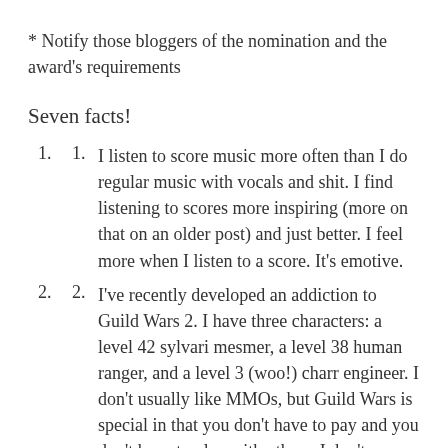* Notify those bloggers of the nomination and the award's requirements
Seven facts!
1. I listen to score music more often than I do regular music with vocals and shit. I find listening to scores more inspiring (more on that on an older post) and just better. I feel more when I listen to a score. It's emotive.
2. I've recently developed an addiction to Guild Wars 2. I have three characters: a level 42 sylvari mesmer, a level 38 human ranger, and a level 3 (woo!) charr engineer. I don't usually like MMOs, but Guild Wars is special in that you don't have to pay and you don't have to play with others. I don't